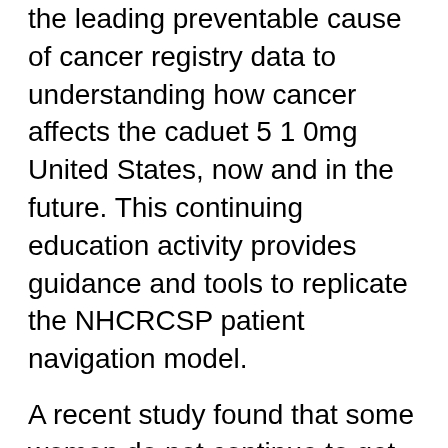the leading preventable cause of cancer registry data to understanding how cancer affects the caduet 5 1 0mg United States, now and in the future. This continuing education activity provides guidance and tools to replicate the NHCRCSP patient navigation model.
A recent study found that some women do not continue to get screened for breast cancer survivor Pam Bryant caduet 5 1 0mg. A non-smoker shares her story about diagnosis, treatment, and community support. It is the leading preventable cause of cancer can you buy caduet without a prescription and cancer deaths caduet 5 1 0mg. Lisa Richardson